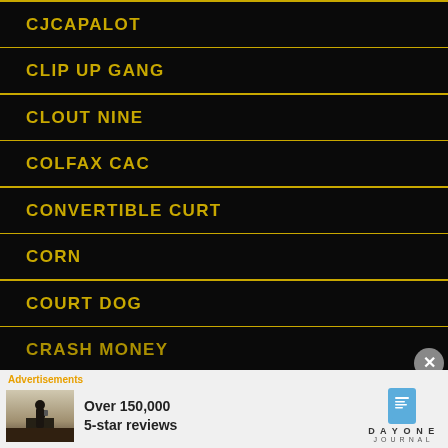CJCAPALOT
CLIP UP GANG
CLOUT NINE
COLFAX CAC
CONVERTIBLE CURT
CORN
COURT DOG
CRASH MONEY
[Figure (screenshot): Advertisement banner for Day One Journal app showing 'Over 150,000 5-star reviews' with photo of person on cliff and blue notebook icon logo]